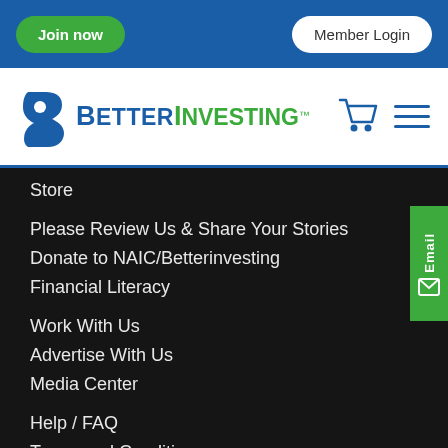Join now | Member Login
[Figure (logo): BetterInvesting logo with shopping cart and hamburger menu icons]
Store
Please Review Us & Share Your Stories
Donate to NAIC/Betterinvesting
Financial Literacy
Work With Us
Advertise With Us
Media Center
Help / FAQ
Terms and Conditions